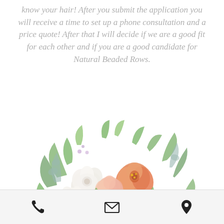know your hair! After you submit the application you will receive a time to set up a phone consultation and a price quote! After that I will decide if we are a good fit for each other and if you are a good candidate for Natural Beaded Rows.
[Figure (illustration): Watercolor floral bouquet illustration with peach and white roses, pink flowers, green leaves and eucalyptus sprigs]
© CREATED BY CHERYL YACENDA, 2018.
[Figure (other): Footer bar with three icons: phone, email envelope, and location pin]